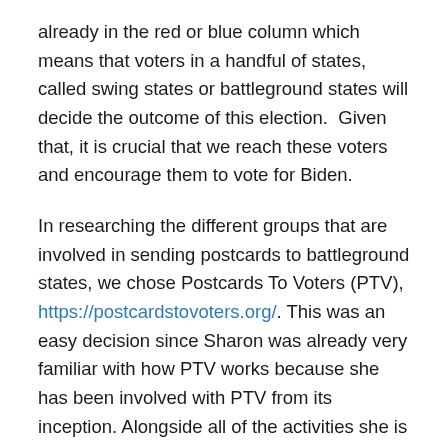already in the red or blue column which means that voters in a handful of states, called swing states or battleground states will decide the outcome of this election.  Given that, it is crucial that we reach these voters and encourage them to vote for Biden.
In researching the different groups that are involved in sending postcards to battleground states, we chose Postcards To Voters (PTV), https://postcardstovoters.org/. This was an easy decision since Sharon was already very familiar with how PTV works because she has been involved with PTV from its inception. Alongside all of the activities she is involved in for our district, she explained why being an active volunteer with PTV has been important to her.
“Volunteers feel that the stakes are so high that they have